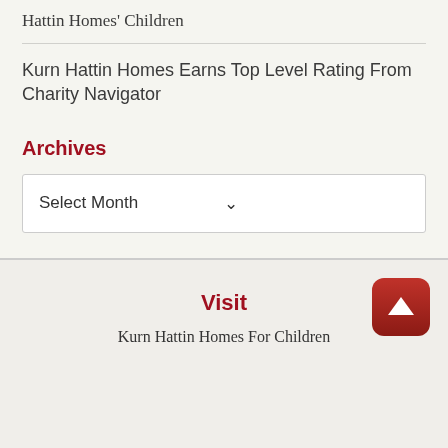Hattin Homes' Children
Kurn Hattin Homes Earns Top Level Rating From Charity Navigator
Archives
Select Month
Visit
Kurn Hattin Homes For Children